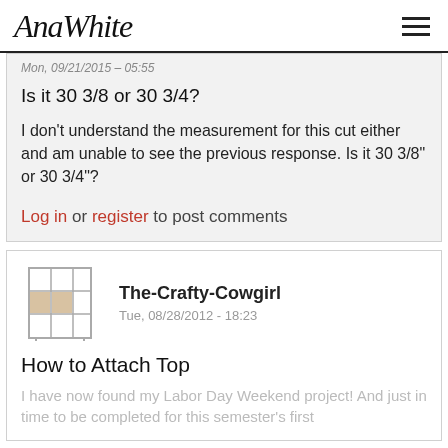AnaWhite
Mon, 09/21/2015 - 05:55
Is it 30 3/8 or 30 3/4?
I don't understand the measurement for this cut either and am unable to see the previous response. Is it 30 3/8" or 30 3/4"?
Log in or register to post comments
The-Crafty-Cowgirl
Tue, 08/28/2012 - 18:23
How to Attach Top
I have now found my Labor Day Weekend project! And just in time to be completed for this semester's first